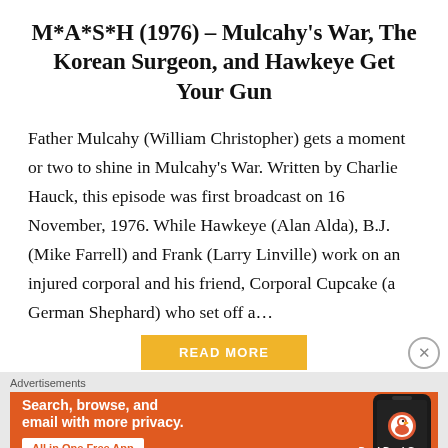M*A*S*H (1976) – Mulcahy's War, The Korean Surgeon, and Hawkeye Get Your Gun
Father Mulcahy (William Christopher) gets a moment or two to shine in Mulcahy's War. Written by Charlie Hauck, this episode was first broadcast on 16 November, 1976. While Hawkeye (Alan Alda), B.J. (Mike Farrell) and Frank (Larry Linville) work on an injured corporal and his friend, Corporal Cupcake (a German Shephard) who set off a...
[Figure (other): Yellow 'READ MORE' button partially visible, with an X close button on the right side]
[Figure (other): DuckDuckGo advertisement banner on orange background. Text: 'Search, browse, and email with more privacy. All in One Free App' with DuckDuckGo logo and phone graphic.]